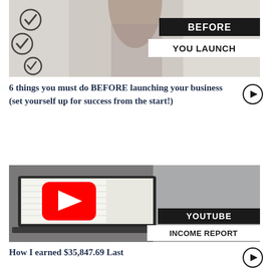[Figure (photo): Thumbnail image: woman with checkmarks on wall behind her, with black overlay text 'BEFORE YOU LAUNCH']
6 things you must do BEFORE launching your business (set yourself up for success from the start!)
[Figure (photo): Thumbnail image: laptop with YouTube play button, woman in background, with overlay text 'YOUTUBE INCOME REPORT']
How I earned $35,847.69 Last